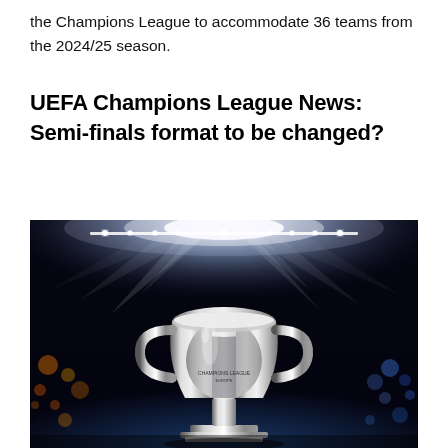the Champions League to accommodate 36 teams from the 2024/25 season.
UEFA Champions League News: Semi-finals format to be changed?
[Figure (photo): The UEFA Champions League trophy displayed on a pitch in a stadium with dramatic spotlight beams in the background and blue stadium lights visible.]